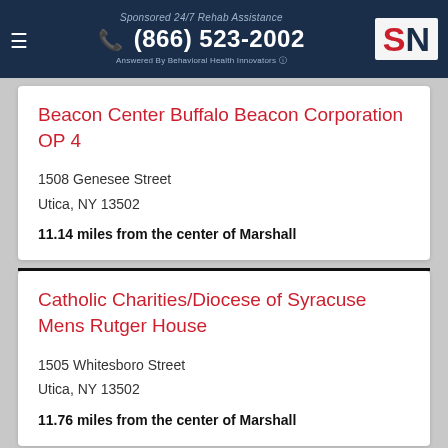Sponsored 24/7 Rehab Assistance | (866) 523-2002 | Answered By Behavioral Health Innovators | SN
Beacon Center Buffalo Beacon Corporation OP 4
1508 Genesee Street
Utica, NY 13502
11.14 miles from the center of Marshall
Catholic Charities/Diocese of Syracuse Mens Rutger House
1505 Whitesboro Street
Utica, NY 13502
11.76 miles from the center of Marshall